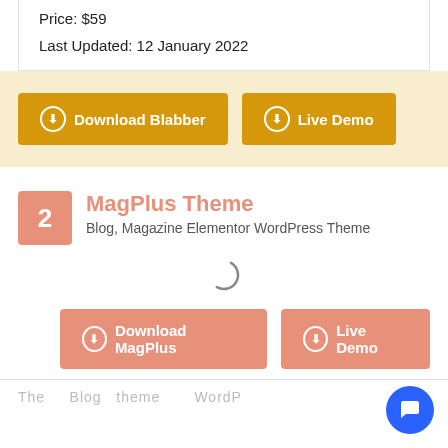Price: $59
Last Updated: 12 January 2022
Download Blabber
Live Demo
2 MagPlus Theme
Blog, Magazine Elementor WordPress Theme
[Figure (other): Loading spinner arc]
Download MagPlus
Live Demo
The ... Blog themes ... WordPress ...